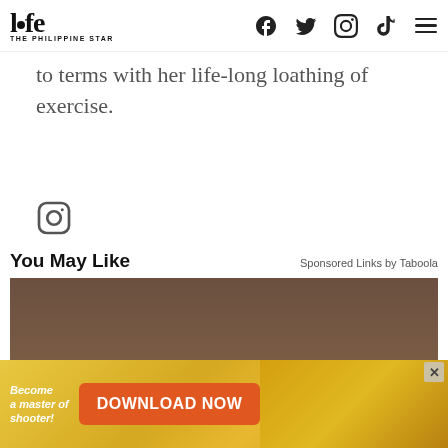life THE PHILIPPINE STAR — navigation with Facebook, Twitter, Instagram, TikTok, and menu icons
to terms with her life-long loathing of exercise.
[Figure (other): Instagram icon]
You May Like
Sponsored Links by Taboola
[Figure (photo): Photo of cottage cheese or kefir grains on a wooden surface, with a hamburger/menu icon overlay at the bottom center]
[Figure (other): Advertisement banner: 'Become a master of shooter!' with orange DOWNLOAD NOW button and game imagery]